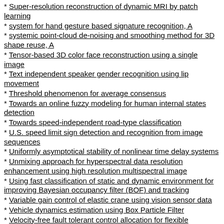Super-resolution reconstruction of dynamic MRI by patch learning
system for hand gesture based signature recognition, A
systemic point-cloud de-noising and smoothing method for 3D shape reuse, A
Tensor-based 3D color face reconstruction using a single image
Text independent speaker gender recognition using lip movement
Threshold phenomenon for average consensus
Towards an online fuzzy modeling for human internal states detection
Towards speed-independent road-type classification
U.S. speed limit sign detection and recognition from image sequences
Uniformly asymptotical stability of nonlinear time delay systems
Unmixing approach for hyperspectral data resolution enhancement using high resolution multispectral image
Using fast classification of static and dynamic environment for improving Bayesian occupancy filter (BOF) and tracking
Variable gain control of elastic crane using vision sensor data
Vehicle dynamics estimation using Box Particle Filter
Velocity-free fault tolerant control allocation for flexible